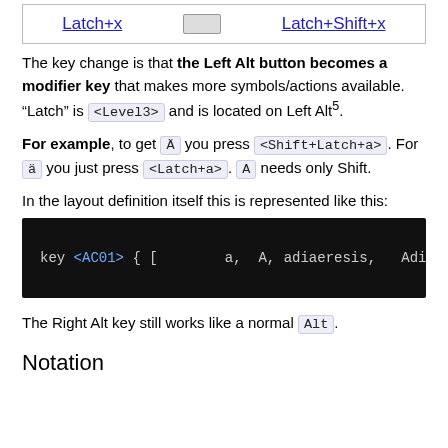[Figure (illustration): Diagram showing keyboard shortcut labels: Latch+x with arrow symbol and Latch+Shift+x, displayed in a bordered box with blue underlined text]
The key change is that the Left Alt button becomes a modifier key that makes more symbols/actions available. “Latch” is <Level3> and is located on Left Alt⁵.
For example, to get Ä you press <Shift+Latch+a>. For ä you just press <Latch+a>. A needs only Shift.
In the layout definition itself this is represented like this:
[Figure (screenshot): Black code block showing: key <AC01> { [    a,  A, adiaeresis,  Adi]
The Right Alt key still works like a normal Alt.
Notation